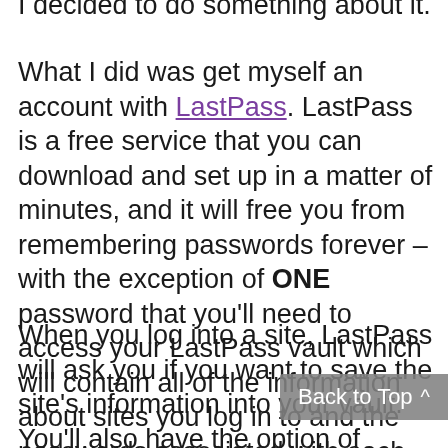I decided to do something about it.
What I did was get myself an account with LastPass. LastPass is a free service that you can download and set up in a matter of minutes, and it will free you from remembering passwords forever – with the exception of ONE password that you'll need to access your LastPass vault which will contain all of the information about sites you log in to and the passwords associated with each.
When you log into a site, LastPass will ask you if you want to save the site's information into your vault. You'll also have the option of generating a new, strong password for the site (or for any new site you log in to). After